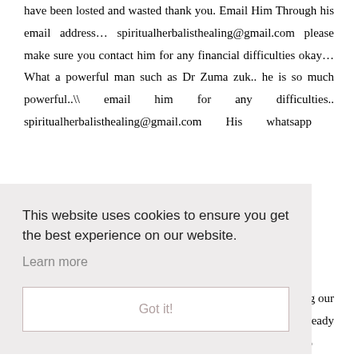have been losted and wasted thank you. Email Him Through his email address... spiritualherbalisthealing@gmail.com please make sure you contact him for any financial difficulties okay...What a powerful man such as Dr Zuma zuk.. he is so much powerful..\ email him for any difficulties.. spiritualherbalisthealing@gmail.com       His      whatsapp
[Figure (screenshot): Cookie consent overlay banner with text 'This website uses cookies to ensure you get the best experience on our website.' with a 'Learn more' link and a 'Got it!' button.]
ing our already got a scandi interior but we're raising the roof, going up into